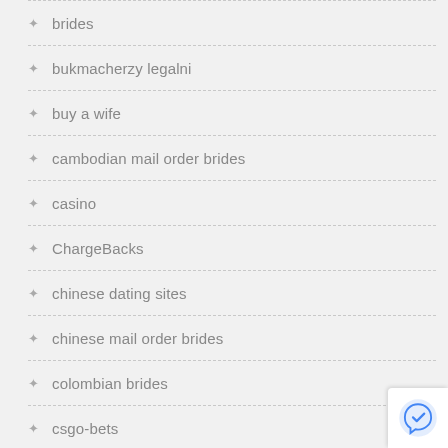brides
bukmacherzy legalni
buy a wife
cambodian mail order brides
casino
ChargeBacks
chinese dating sites
chinese mail order brides
colombian brides
csgo-bets